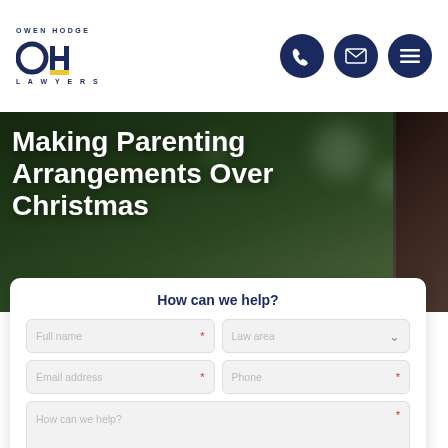Owen Hodge Lawyers
Making Parenting Arrangements Over Christmas
How can we help?
Full name [required] | Law area [dropdown required]
Email address [required] | Phone [required]
How can we help? [required]
I agree to the Owen Hodge Lawyer's privacy policy. [required]